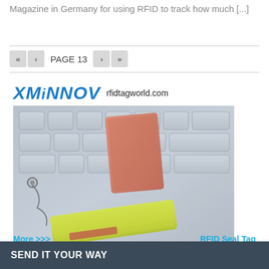Magazine in Germany for using RFID to track how much [...]
PAGE 13
[Figure (photo): XMiNNOV RFID Seal Tag product photo showing a yellow security seal tag on a keyboard, with an orange card in the background and wire, branded with rfidtagworld.com]
More >>>     RFID Seal Tag
SEND IT YOUR WAY